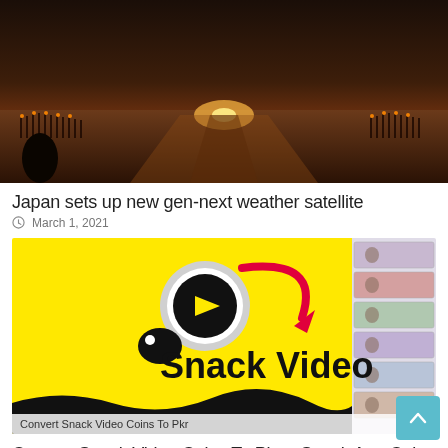[Figure (photo): Movie or historical epic scene showing soldiers and torches in a large formation at dusk, aerial dramatic view.]
Japan sets up new gen-next weather satellite
March 1, 2021
[Figure (photo): Snack Video app promotional image with yellow background, Snack Video logo, and Pakistani currency banknotes on the right side. Caption reads: Convert Snack Video Coins To Pkr]
Convert Snack Video Coins To Pkr – Snack App Coins Price in Pakistan